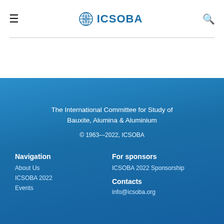☰  ICSOBA  🔍
The International Committee for Study of Bauxite, Alumina & Aluminium
© 1963—2022, ICSOBA
Navigation
About Us
ICSOBA 2022
Events
For sponsors
ICSOBA 2022 Sponsorship
Contacts
info@icsoba.org